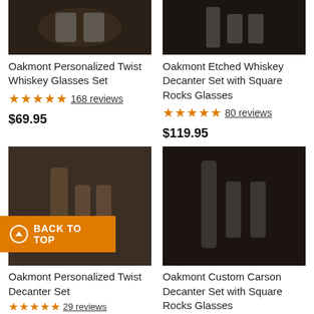[Figure (photo): Product photo of Oakmont Personalized Twist Whiskey Glasses Set on dark wood background]
[Figure (photo): Product photo of Oakmont Etched Whiskey Decanter Set with Square Rocks Glasses on dark background]
Oakmont Personalized Twist Whiskey Glasses Set
★★★★★ 168 reviews
$69.95
Oakmont Etched Whiskey Decanter Set with Square Rocks Glasses
★★★★★ 80 reviews
$119.95
[Figure (photo): Product photo of Oakmont Personalized Twist Decanter Set on dark background]
[Figure (photo): Product photo of Oakmont Custom Carson Decanter Set with Square Rocks Glasses on dark background]
Oakmont Personalized Twist Decanter Set
★★★★★ 29 reviews
Oakmont Custom Carson Decanter Set with Square Rocks Glasses
Rocks Glasses
⊕ BACK TO TOP